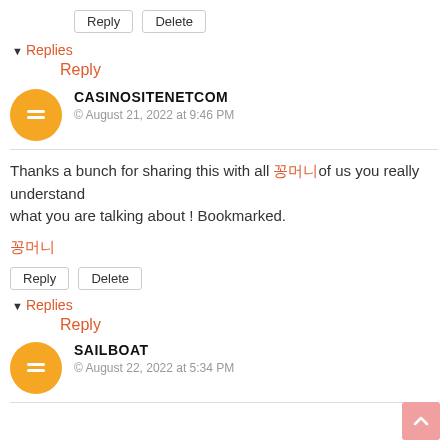Reply  Delete
▼ Replies
Reply
CASINOSITENETCOM
August 21, 2022 at 9:46 PM
Thanks a bunch for sharing this with all 🀄🀄🀄🀄🀄of us you really understand what you are talking about ! Bookmarked.
🀄🀄🀄🀄🀄
Reply  Delete
▼ Replies
Reply
SAILBOAT
August 22, 2022 at 5:34 PM